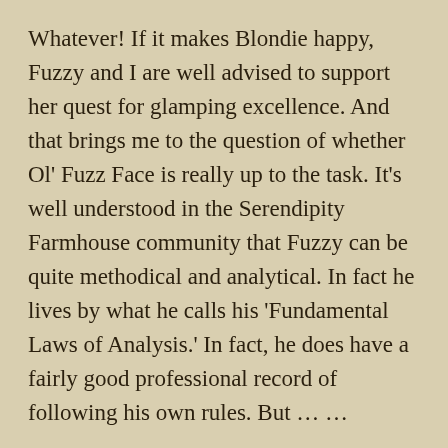Whatever! If it makes Blondie happy, Fuzzy and I are well advised to support her quest for glamping excellence. And that brings me to the question of whether Ol' Fuzz Face is really up to the task. It's well understood in the Serendipity Farmhouse community that Fuzzy can be quite methodical and analytical. In fact he lives by what he calls his 'Fundamental Laws of Analysis.' In fact, he does have a fairly good professional record of following his own rules. But … …
There are some days when Fuzzy gets out of bed that it's obvious that he has been taken over and possessed by his inner-dork.* Monday April 19th was one of those days. It was